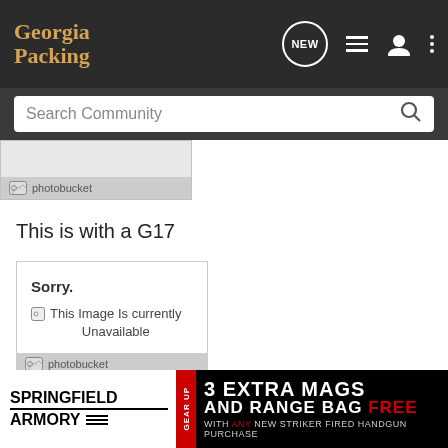Georgia Packing — Navigation bar with NEW, list, user, and menu icons
[Figure (screenshot): Search Community input bar with magnifying glass icon]
[Figure (screenshot): Photobucket image placeholder — image unavailable (top)]
This is with a G17
[Figure (screenshot): Photobucket Sorry. This Image Is currently Unavailable placeholder box]
[Figure (screenshot): Springfield Armory ad — 3 EXTRA MAGS AND RANGE BAG FREE WITH ANY NEW STRIKER FIRED HANDGUN PURCHASE]